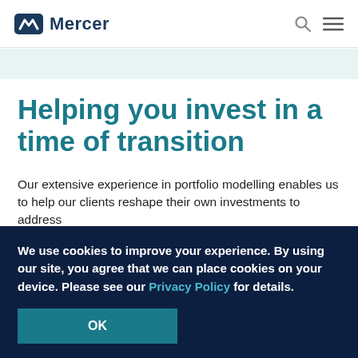Mercer
Helping you invest in a time of transition
Our extensive experience in portfolio modelling enables us to help our clients reshape their own investments to address
We use cookies to improve your experience.  By using our site, you agree that we can place cookies on your device. Please see our Privacy Policy for details.